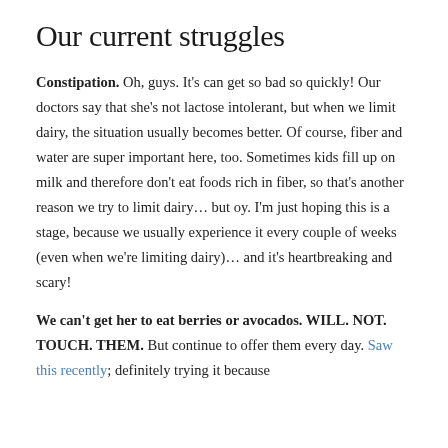Our current struggles
Constipation. Oh, guys. It’s can get so bad so quickly! Our doctors say that she’s not lactose intolerant, but when we limit dairy, the situation usually becomes better. Of course, fiber and water are super important here, too. Sometimes kids fill up on milk and therefore don’t eat foods rich in fiber, so that’s another reason we try to limit dairy… but oy. I’m just hoping this is a stage, because we usually experience it every couple of weeks (even when we’re limiting dairy)… and it’s heartbreaking and scary!
We can’t get her to eat berries or avocados. WILL. NOT. TOUCH. THEM. But continue to offer them every day. Saw this recently; definitely trying it because [text cut off]